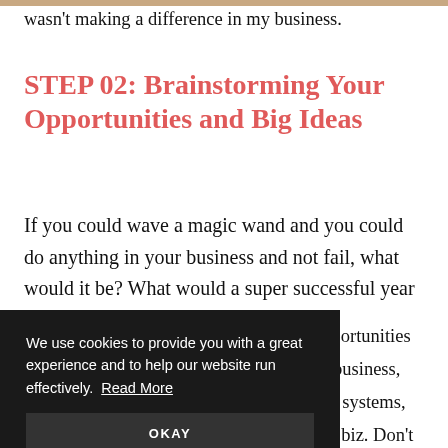wasn't making a difference in my business.
STEP 02: Brainstorming Your Opportunities and Big Ideas
If you could wave a magic wand and you could do anything in your business and not fail, what would it be? What would a super successful year look like for you?
…opportunities …ur business, …our systems, …TC biz. Don't …hing that …should become EXCITIED about the…
We use cookies to provide you with a great experience and to help our website run effectively. Read More OKAY